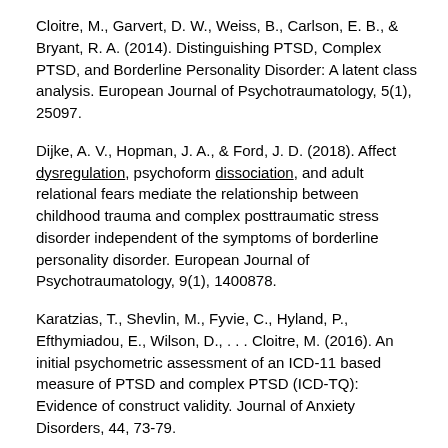Cloitre, M., Garvert, D. W., Weiss, B., Carlson, E. B., & Bryant, R. A. (2014). Distinguishing PTSD, Complex PTSD, and Borderline Personality Disorder: A latent class analysis. European Journal of Psychotraumatology, 5(1), 25097.
Dijke, A. V., Hopman, J. A., & Ford, J. D. (2018). Affect dysregulation, psychoform dissociation, and adult relational fears mediate the relationship between childhood trauma and complex posttraumatic stress disorder independent of the symptoms of borderline personality disorder. European Journal of Psychotraumatology, 9(1), 1400878.
Karatzias, T., Shevlin, M., Fyvie, C., Hyland, P., Efthymiadou, E., Wilson, D., . . . Cloitre, M. (2016). An initial psychometric assessment of an ICD-11 based measure of PTSD and complex PTSD (ICD-TQ): Evidence of construct validity. Journal of Anxiety Disorders, 44, 73-79.
Knefel, M., Tran, U. S., & Lueger-Schuster, B. (2016). The association of posttraumatic stress disorder, complex